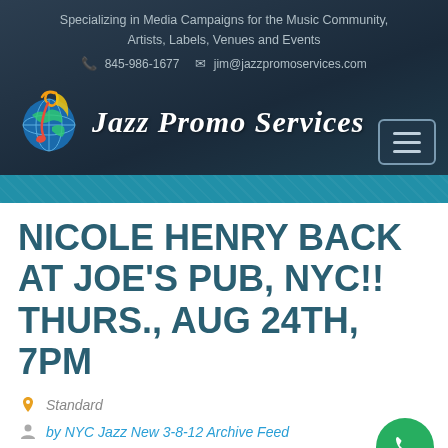Specializing in Media Campaigns for the Music Community, Artists, Labels, Venues and Events
☎ 845-986-1677  ✉ jim@jazzpromoservices.com
[Figure (logo): Jazz Promo Services logo with musical note and globe icon, text reads JAZZ PROMO SERVICES]
NICOLE HENRY BACK AT JOE'S PUB, NYC!!  THURS., AUG 24TH, 7PM
Standard
by NYC Jazz New 3-8-12 Archive Feed
August 22, 2017